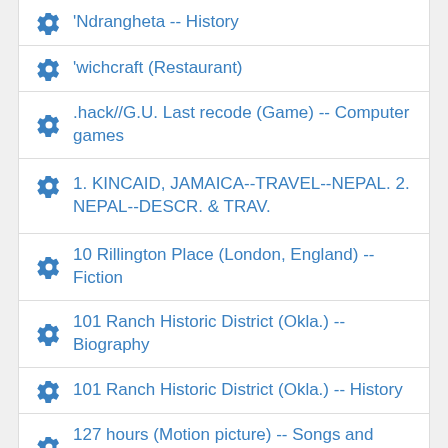'Ndrangheta -- History
'wichcraft (Restaurant)
.hack//G.U. Last recode (Game) -- Computer games
1. KINCAID, JAMAICA--TRAVEL--NEPAL. 2. NEPAL--DESCR. & TRAV.
10 Rillington Place (London, England) -- Fiction
101 Ranch Historic District (Okla.) -- Biography
101 Ranch Historic District (Okla.) -- History
127 hours (Motion picture) -- Songs and music
13 sentinels Aegis rim (Game) -- Computer games
130L
1500-1599